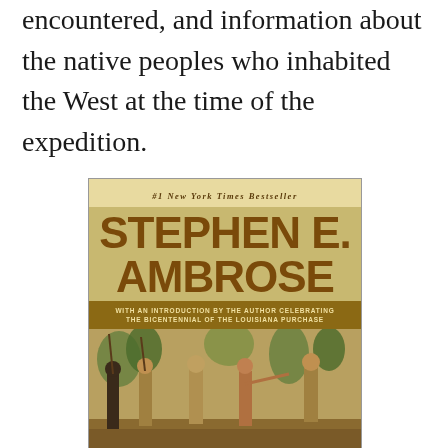encountered, and information about the native peoples who inhabited the West at the time of the expedition.
[Figure (photo): Book cover of a Stephen E. Ambrose book. The cover shows '#1 New York Times Bestseller' at the top, the author name 'STEPHEN E. AMBROSE' in large bold letters, a subtitle bar reading 'With an introduction by the author celebrating the bicentennial of the Louisiana Purchase', and a painted illustration showing a group of explorers and Native Americans in a forest setting.]